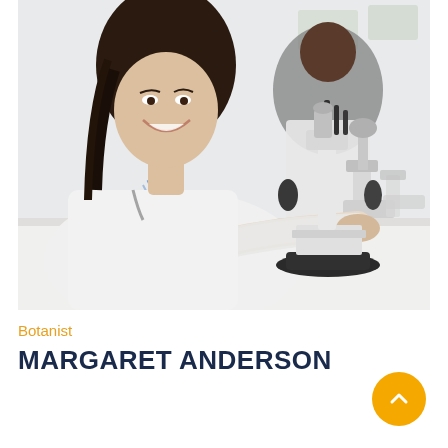[Figure (photo): Two scientists in white lab coats using microscopes at a laboratory bench. A smiling woman with long dark hair is in the foreground adjusting a white microscope. A man is visible in the background also using a microscope.]
Botanist
MARGARET ANDERSON